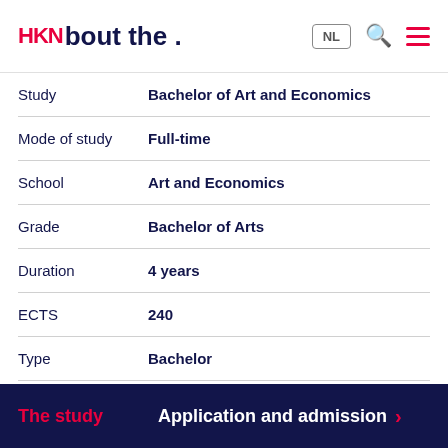HKN About the . NL [search] [menu]
| Field | Value |
| --- | --- |
| Study | Bachelor of Art and Economics |
| Mode of study | Full-time |
| School | Art and Economics |
| Grade | Bachelor of Arts |
| Duration | 4 years |
| ECTS | 240 |
| Type | Bachelor |
| Language | Dutch |
| CROHO-code | 34951 |
The study  Application and admission ›